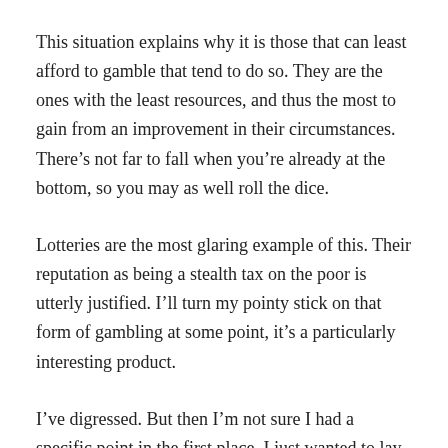This situation explains why it is those that can least afford to gamble that tend to do so. They are the ones with the least resources, and thus the most to gain from an improvement in their circumstances. There’s not far to fall when you’re already at the bottom, so you may as well roll the dice.
Lotteries are the most glaring example of this. Their reputation as being a stealth tax on the poor is utterly justified. I’ll turn my pointy stick on that form of gambling at some point, it’s a particularly interesting product.
I’ve digressed. But then I’m not sure I had a specific point in the first place. I just wanted to lay foundations for future topics and perhaps shed some light on what appears to be irrational behaviour but is in many ways quite rational.